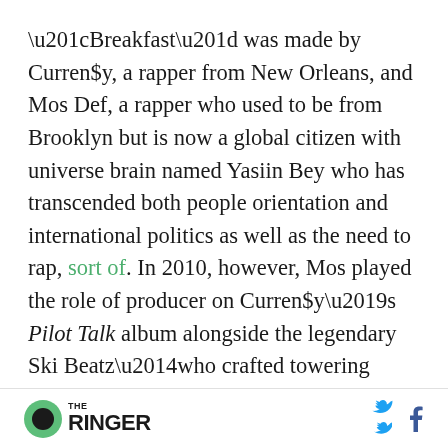“Breakfast” was made by Curren$y, a rapper from New Orleans, and Mos Def, a rapper who used to be from Brooklyn but is now a global citizen with universe brain named Yasiin Bey who has transcended both people orientation and international politics as well as the need to rap, sort of. In 2010, however, Mos played the role of producer on Curren$y’s Pilot Talk album alongside the legendary Ski Beatz—who crafted towering classics like “Dead Presidents” and “Who You Wit” for Jay Z, as well as most of Ha...
THE RINGER